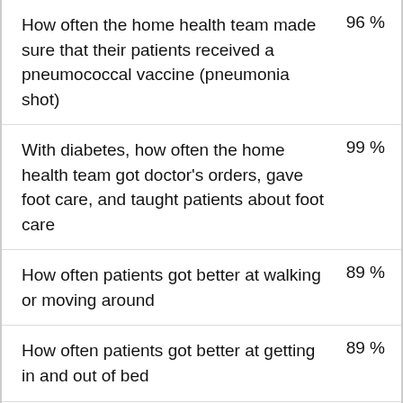How often the home health team made sure that their patients received a pneumococcal vaccine (pneumonia shot)
With diabetes, how often the home health team got doctor's orders, gave foot care, and taught patients about foot care
How often patients got better at walking or moving around
How often patients got better at getting in and out of bed
How often patients got better at...